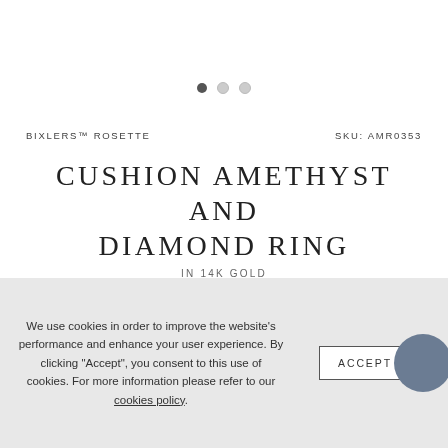[Figure (other): Three dots carousel indicator with first dot filled (dark) and two empty (light gray)]
BIXLERS™ ROSETTE
SKU: AMR0353
CUSHION AMETHYST AND DIAMOND RING
IN 14K GOLD
$2,125
STARTING AT $192/MO WITH affirm. PREQUALIFY NOW
SIZE
View Size Guide
We use cookies in order to improve the website's performance and enhance your user experience. By clicking "Accept", you consent to this use of cookies. For more information please refer to our cookies policy.
ACCEPT